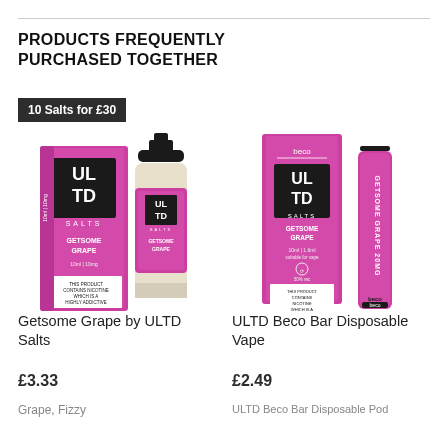PRODUCTS FREQUENTLY PURCHASED TOGETHER
[Figure (photo): ULTD Salts Getsome Grape e-liquid bottle and box in pink/purple packaging with '10 Salts for £30' badge]
[Figure (photo): ULTD Beco Bar Disposable Vape in pink packaging — tall box and disposable vape device]
Getsome Grape by ULTD Salts
ULTD Beco Bar Disposable Vape
£3.33
£2.49
Grape, Fizzy
ULTD Beco Bar Disposable Pod